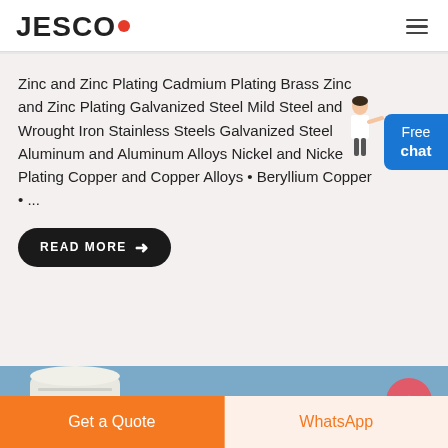JESCO
Zinc and Zinc Plating Cadmium Plating Brass Zinc and Zinc Plating Galvanized Steel Mild Steel and Wrought Iron Stainless Steels Galvanized Steel Aluminum and Aluminum Alloys Nickel and Nickel Plating Copper and Copper Alloys • Beryllium Copper • ...
[Figure (illustration): Woman figure next to Free chat badge button]
READ MORE →
[Figure (photo): Industrial tank/silo image with blue sky background]
Get a Quote
WhatsApp